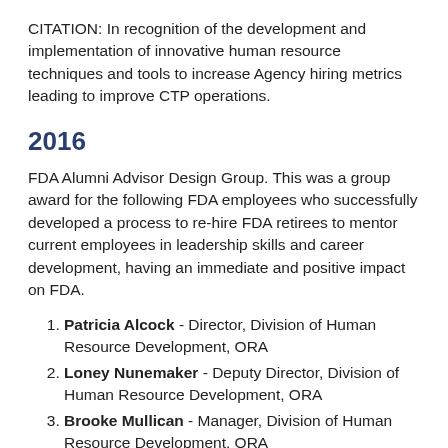CITATION: In recognition of the development and implementation of innovative human resource techniques and tools to increase Agency hiring metrics leading to improve CTP operations.
2016
FDA Alumni Advisor Design Group. This was a group award for the following FDA employees who successfully developed a process to re-hire FDA retirees to mentor current employees in leadership skills and career development, having an immediate and positive impact on FDA.
Patricia Alcock - Director, Division of Human Resource Development, ORA
Loney Nunemaker - Deputy Director, Division of Human Resource Development, ORA
Brooke Mullican - Manager, Division of Human Resource Development, ORA